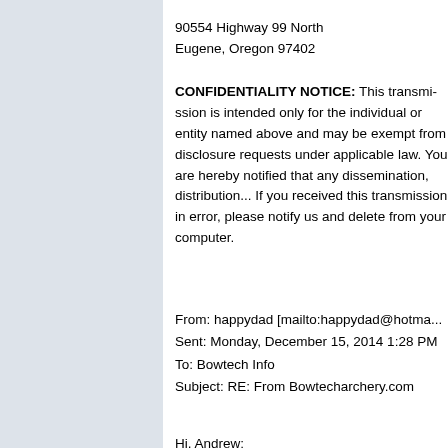90554 Highway 99 North
Eugene, Oregon 97402
CONFIDENTIALITY NOTICE: This transmission is intended only for the individual or entity named above and may be exempt from disclosure requests under applicable law. You are hereby notified that any dissemination, distribution... If you received this transmission in error, please notify us and delete from your computer.
From: happydad [mailto:happydad@hotma...
Sent: Monday, December 15, 2014 1:28 PM
To: Bowtech Info
Subject: RE: From Bowtecharchery.com
Hi, Andrew: